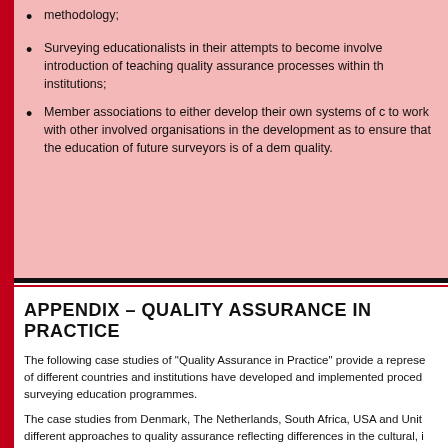methodology;
Surveying educationalists in their attempts to become involved introduction of teaching quality assurance processes within th institutions;
Member associations to either develop their own systems of c to work with other involved organisations in the development as to ensure that the education of future surveyors is of a dem quality.
APPENDIX – QUALITY ASSURANCE IN PRACTICE
The following case studies of "Quality Assurance in Practice" provide a represe of different countries and institutions have developed and implemented proced surveying education programmes.
The case studies from Denmark, The Netherlands, South Africa, USA and Unit different approaches to quality assurance reflecting differences in the cultural, i context of the institutions. The case studies are presented by using a common the understanding and comparison between the concepts implemented in diffe